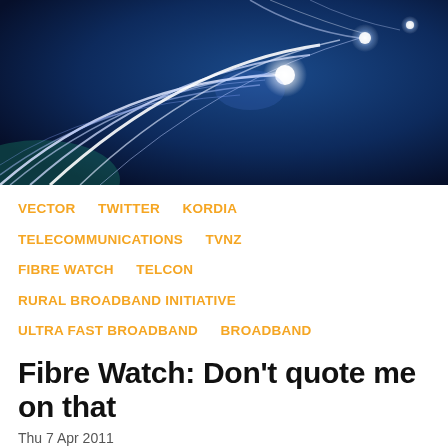[Figure (photo): Fiber optic cables glowing with light against a dark blue background, showing light streaks emanating from the cable ends.]
VECTOR
TWITTER
KORDIA
TELECOMMUNICATIONS
TVNZ
FIBRE WATCH
TELCON
RURAL BROADBAND INITIATIVE
ULTRA FAST BROADBAND
BROADBAND
Fibre Watch: Don't quote me on that
Thu 7 Apr 2011
FYI, this story is more than a year old